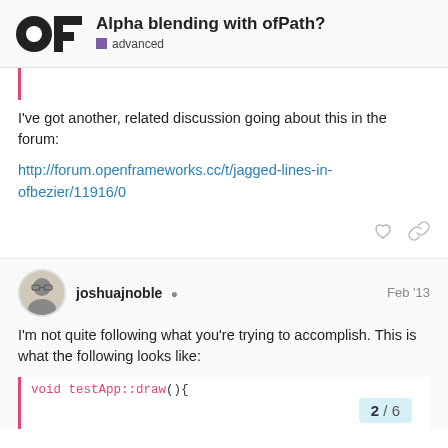Alpha blending with ofPath? | advanced
I've got another, related discussion going about this in the forum:
http://forum.openframeworks.cc/t/jagged-lines-in-ofbezier/11916/0
joshuajnoble  Feb '13
I'm not quite following what you're trying to accomplish. This is what the following looks like:
void testApp::draw(){